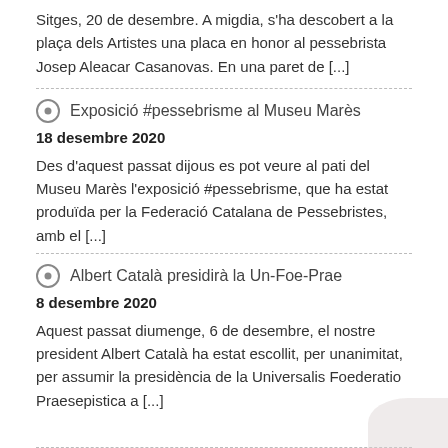Sitges, 20 de desembre. A migdia, s'ha descobert a la plaça dels Artistes una placa en honor al pessebrista Josep Aleacar Casanovas. En una paret de [...]
Exposició #pessebrisme al Museu Marès
18 desembre 2020
Des d'aquest passat dijous es pot veure al pati del Museu Marès l'exposició #pessebrisme, que ha estat produïda per la Federació Catalana de Pessebristes, amb el [...]
Albert Català presidirà la Un-Foe-Prae
8 desembre 2020
Aquest passat diumenge, 6 de desembre, el nostre president Albert Català ha estat escollit, per unanimitat, per assumir la presidència de la Universalis Foederatio Praesepistica a [...]